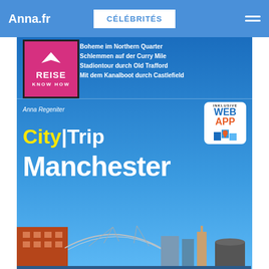Anna.fr  CÉLÉBRITÉS
[Figure (photo): Book cover of 'CityTrip Manchester' by Anna Regeniter, published by Reise Know How. Blue cover with yellow and white text, Reise Know How logo in pink/magenta, Web App badge, bullet points listing: Boheme im Northern Quarter, Schlemmen auf der Curry Mile, Stadiontour durch Old Trafford, Mit dem Kanalboot durch Castlefield. Manchester cityscape at bottom.]